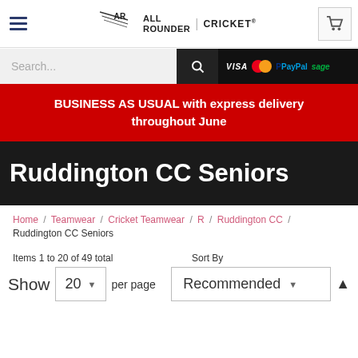All Rounder Cricket - Navigation header with logo, hamburger menu, and cart
Search...
VISA MasterCard PayPal sage
BUSINESS AS USUAL with express delivery throughout June
Ruddington CC Seniors
Home / Teamwear / Cricket Teamwear / R / Ruddington CC / Ruddington CC Seniors
Items 1 to 20 of 49 total
Sort By
Show 20 per page
Recommended